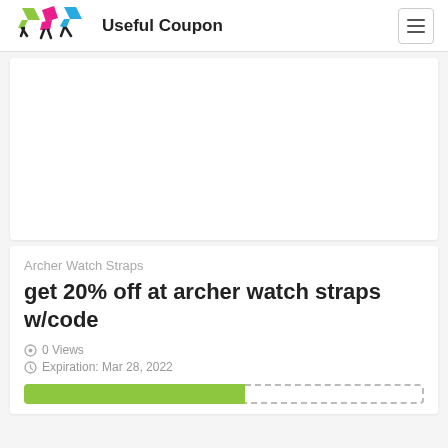Useful Coupon
[Figure (other): Advertisement block placeholder (white rectangle)]
Archer Watch Straps
get 20% off at archer watch straps w/code
0 Views
Expiration: Mar 28, 2022